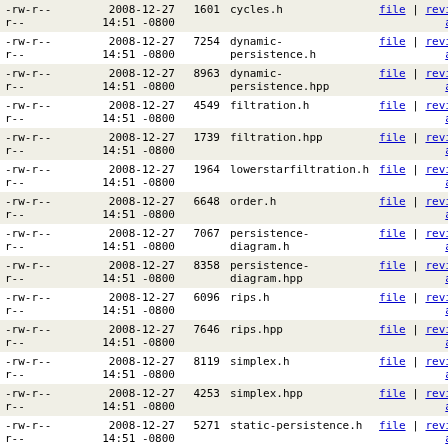| permissions | date/time | size | filename | actions |
| --- | --- | --- | --- | --- |
| -rw-r--r-- | 2008-12-27 14:51 -0800 | 1601 | cycles.h | file | revisions | annotate |
| -rw-r--r-- | 2008-12-27 14:51 -0800 | 7254 | dynamic-persistence.h | file | revisions | annotate |
| -rw-r--r-- | 2008-12-27 14:51 -0800 | 8963 | dynamic-persistence.hpp | file | revisions | annotate |
| -rw-r--r-- | 2008-12-27 14:51 -0800 | 4549 | filtration.h | file | revisions | annotate |
| -rw-r--r-- | 2008-12-27 14:51 -0800 | 1739 | filtration.hpp | file | revisions | annotate |
| -rw-r--r-- | 2008-12-27 14:51 -0800 | 1964 | lowerstarfiltration.h | file | revisions | annotate |
| -rw-r--r-- | 2008-12-27 14:51 -0800 | 6648 | order.h | file | revisions | annotate |
| -rw-r--r-- | 2008-12-27 14:51 -0800 | 7067 | persistence-diagram.h | file | revisions | annotate |
| -rw-r--r-- | 2008-12-27 14:51 -0800 | 8358 | persistence-diagram.hpp | file | revisions | annotate |
| -rw-r--r-- | 2008-12-27 14:51 -0800 | 6096 | rips.h | file | revisions | annotate |
| -rw-r--r-- | 2008-12-27 14:51 -0800 | 7646 | rips.hpp | file | revisions | annotate |
| -rw-r--r-- | 2008-12-27 14:51 -0800 | 8119 | simplex.h | file | revisions | annotate |
| -rw-r--r-- | 2008-12-27 14:51 -0800 | 4253 | simplex.hpp | file | revisions | annotate |
| -rw-r--r-- | 2008-12-27 14:51 -0800 | 5271 | static-persistence.h | file | revisions | annotate |